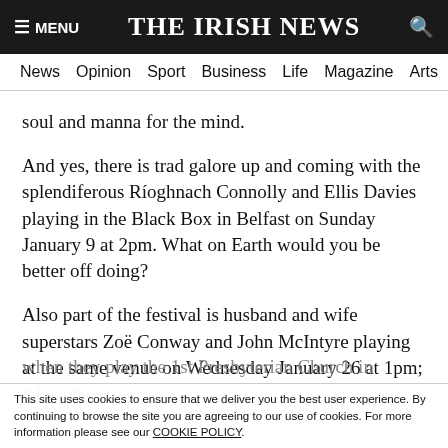≡ MENU   THE IRISH NEWS   🔍
News  Opinion  Sport  Business  Life  Magazine  Arts
soul and manna for the mind.
And yes, there is trad galore up and coming with the splendiferous Ríoghnach Connolly and Ellis Davies playing in the Black Box in Belfast on Sunday January 9 at 2pm. What on Earth would you be better off doing?
Also part of the festival is husband and wife superstars Zoë Conway and John McIntyre playing at the same venue on Wednesday January 26 at 1pm; take a pew
when they play the 1st Presbyterian Church in
This site uses cookies to ensure that we deliver you the best user experience. By continuing to browse the site you are agreeing to our use of cookies. For more information please see our COOKIE POLICY.